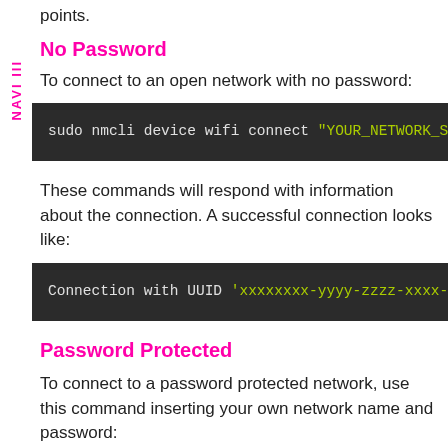points.
No Password
To connect to an open network with no password:
sudo nmcli device wifi connect "YOUR_NETWORK_SS
These commands will respond with information about the connection. A successful connection looks like:
Connection with UUID 'xxxxxxxx-yyyy-zzzz-xxxx-y
Password Protected
To connect to a password protected network, use this command inserting your own network name and password: